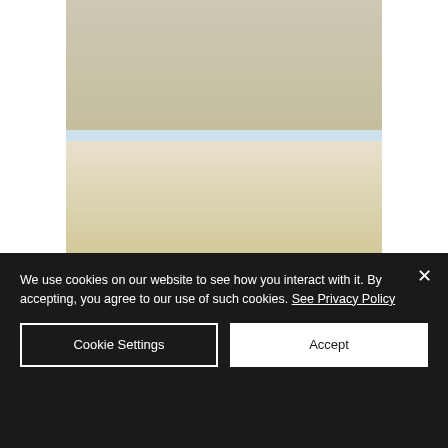[Figure (photo): A photograph of an interior wall or room with beige/tan coloring, shown in two sections separated by a thin light-blue strip. The lower portion shows the base of the wall with two small framed photographs or prints visible at the bottom, and a small dark dash/mark visible in the middle of the lower wall area.]
We use cookies on our website to see how you interact with it. By accepting, you agree to our use of such cookies. See Privacy Policy
Cookie Settings
Accept